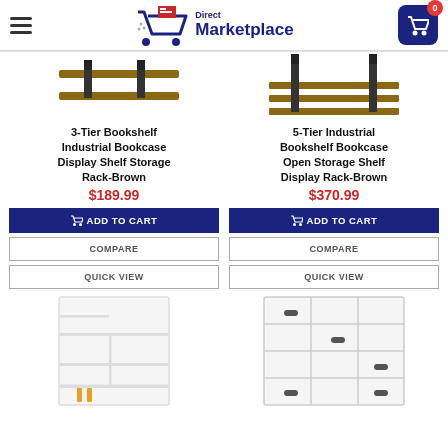Direct Marketplace — navigation header with logo and cart (0 items)
[Figure (photo): 3-Tier Bookshelf Industrial Bookcase Display Shelf Storage Rack - Brown product image]
3-Tier Bookshelf Industrial Bookcase Display Shelf Storage Rack-Brown
$189.99
ADD TO CART
COMPARE
QUICK VIEW
[Figure (photo): 5-Tier Industrial Bookshelf Bookcase Open Storage Shelf Display Rack - Brown product image]
5-Tier Industrial Bookshelf Bookcase Open Storage Shelf Display Rack-Brown
$370.99
ADD TO CART
COMPARE
QUICK VIEW
[Figure (photo): White bookcase/shelf unit product image]
[Figure (photo): White cube storage organizer with drawers product image]